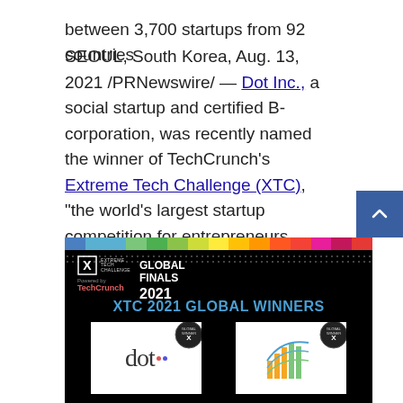between 3,700 startups from 92 countries
SEOUL, South Korea, Aug. 13, 2021 /PRNewswire/ — Dot Inc., a social startup and certified B-corporation, was recently named the winner of TechCrunch's Extreme Tech Challenge (XTC), "the world's largest startup competition for entrepreneurs addressing the globe's most serious challenges"—as per Forbes. Dot Inc., has been a member of the Born2Global Centre since 2020, and is a technology-based social venture that develops innovative solutions for people with disabilities, especially those who are visually impaired and mobility handicapped.
[Figure (photo): XTC Global Finals 2021 banner showing 'XTC 2021 GLOBAL WINNERS' with rainbow color bar at top, Extreme Tech Challenge and TechCrunch logos, and two winner cards below including Dot Inc. logo and another company logo, each with Global Winner badges.]